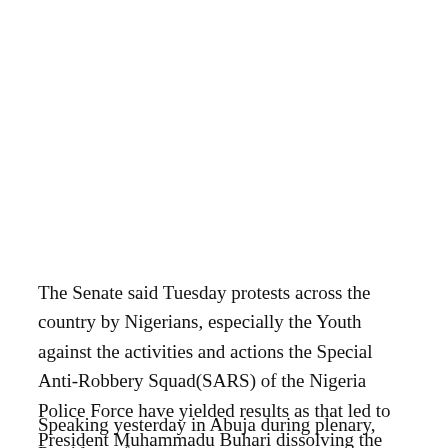The Senate said Tuesday protests across the country by Nigerians, especially the Youth against the activities and actions the Special Anti-Robbery Squad(SARS) of the Nigeria Police Force have yielded results as that led to President Muhammadu Buhari dissolving the body.
Speaking yesterday in Abuja during plenary, President of